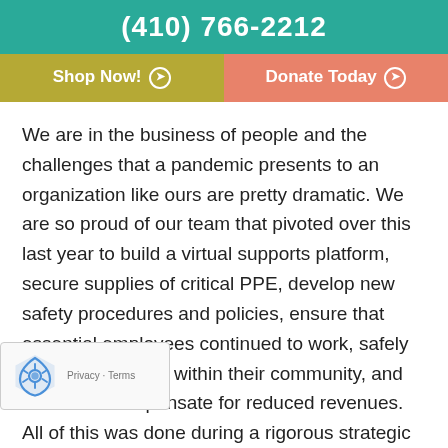(410) 766-2212
Shop Now! ❯
Donate Today ❯
We are in the business of people and the challenges that a pandemic presents to an organization like ours are pretty dramatic. We are so proud of our team that pivoted over this last year to build a virtual supports platform, secure supplies of critical PPE, develop new safety procedures and policies, ensure that essential employees continued to work, safely supported people within their community, and worked to compensate for reduced revenues. All of this was done during a rigorous strategic planning process that will help guide us into the next 60 years.
...t 12 months won't be forgotten, nor will your